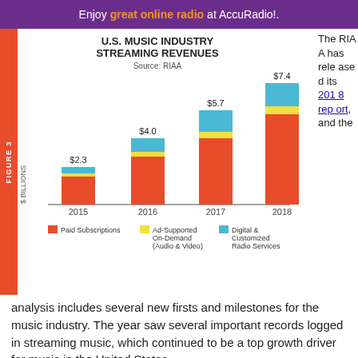Enjoy great online radio at AccuRadio!.
[Figure (stacked-bar-chart): U.S. MUSIC INDUSTRY STREAMING REVENUES]
The RIAA has released its 2018 report, and the analysis includes several new firsts and milestones for the music industry. The year saw several important records logged in streaming music, which continued to be a top growth driver for music in the United States.